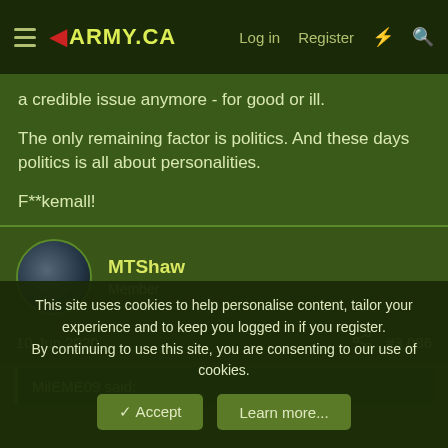ARMY.CA — Log in | Register
a credible issue anymore - for good or ill.

The only remaining factor is politics.  And these days politics is all about personalities.

F**kemall!
MTShaw
Member
10 Jun 2020  #3,086
MilEME09 said:
This site uses cookies to help personalise content, tailor your experience and to keep you logged in if you register.
By continuing to use this site, you are consenting to our use of cookies.